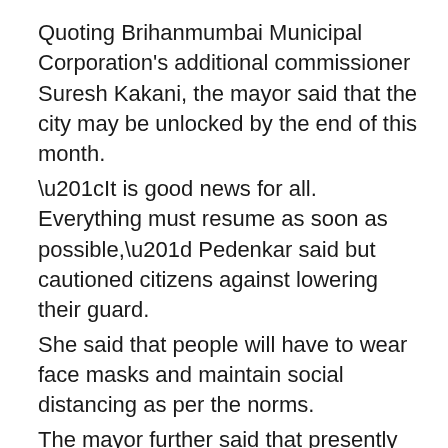Quoting Brihanmumbai Municipal Corporation's additional commissioner Suresh Kakani, the mayor said that the city may be unlocked by the end of this month. “It is good news for all. Everything must resume as soon as possible,” Pedenkar said but cautioned citizens against lowering their guard. She said that people will have to wear face masks and maintain social distancing as per the norms. The mayor further said that presently only one building in Mumbai remains sealed due to the detection of COVID-19 cases among its residents.